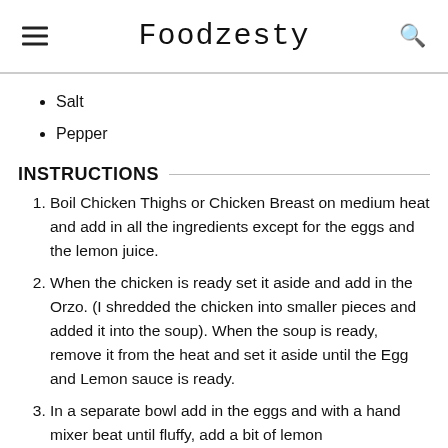Foodzesty
Salt
Pepper
INSTRUCTIONS
Boil Chicken Thighs or Chicken Breast on medium heat and add in all the ingredients except for the eggs and the lemon juice.
When the chicken is ready set it aside and add in the Orzo. (I shredded the chicken into smaller pieces and added it into the soup). When the soup is ready, remove it from the heat and set it aside until the Egg and Lemon sauce is ready.
In a separate bowl add in the eggs and with a hand mixer beat until fluffy, add a bit of lemon